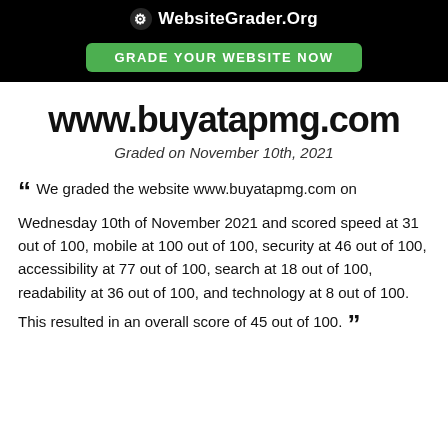WebsiteGrader.Org
GRADE YOUR WEBSITE NOW
www.buyatapmg.com
Graded on November 10th, 2021
We graded the website www.buyatapmg.com on Wednesday 10th of November 2021 and scored speed at 31 out of 100, mobile at 100 out of 100, security at 46 out of 100, accessibility at 77 out of 100, search at 18 out of 100, readability at 36 out of 100, and technology at 8 out of 100. This resulted in an overall score of 45 out of 100.